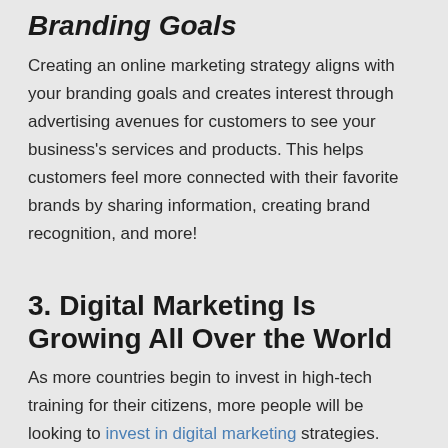Branding Goals
Creating an online marketing strategy aligns with your branding goals and creates interest through advertising avenues for customers to see your business's services and products. This helps customers feel more connected with their favorite brands by sharing information, creating brand recognition, and more!
3. Digital Marketing Is Growing All Over the World
As more countries begin to invest in high-tech training for their citizens, more people will be looking to invest in digital marketing strategies. Industries are growing within the online world, and it's exciting to see new areas of interest emerge all over the world!